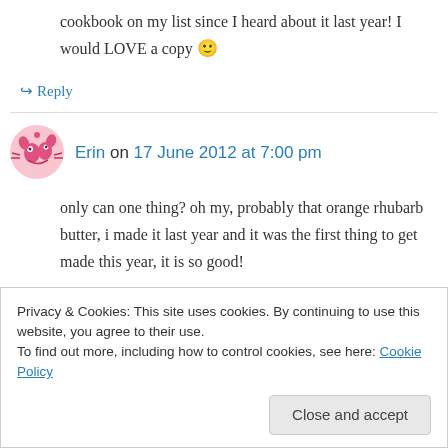cookbook on my list since I heard about it last year! I would LOVE a copy 🙂
↪ Reply
Erin on 17 June 2012 at 7:00 pm
only can one thing? oh my, probably that orange rhubarb butter, i made it last year and it was the first thing to get made this year, it is so good!
↪ Reply
Privacy & Cookies: This site uses cookies. By continuing to use this website, you agree to their use.
To find out more, including how to control cookies, see here: Cookie Policy
Close and accept